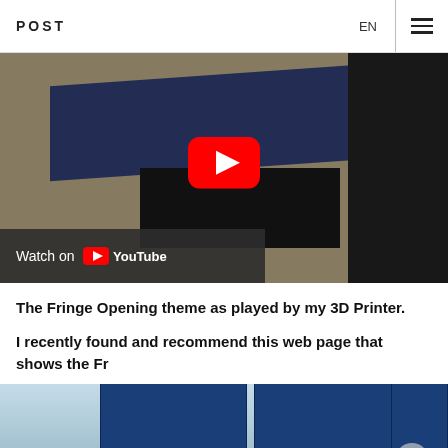POST   EN   ☰
[Figure (screenshot): YouTube video thumbnail showing a 3D printer with a blue board and black base on a tile floor, with a YouTube play button overlay and 'Watch on YouTube' bar at the bottom left.]
The Fringe Opening theme as played by my 3D Printer.
I recently found and recommend this web page that shows the Fr
[Figure (photo): Fringe TV show Blu-ray season box sets partially visible at the bottom of the page, with blue cases showing the FRINGE title text.]